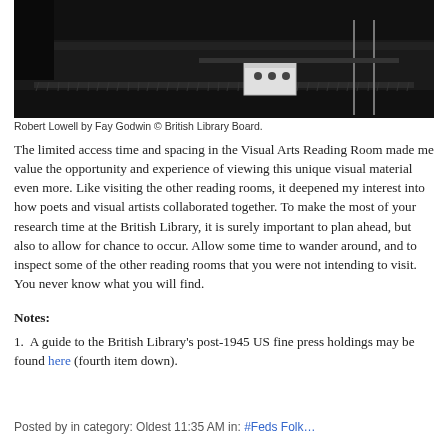[Figure (photo): Black and white photograph of Robert Lowell by Fay Godwin, showing a dark scene with what appears to be a table or surface with a small box on it and metal stands or chairs.]
Robert Lowell by Fay Godwin © British Library Board.
The limited access time and spacing in the Visual Arts Reading Room made me value the opportunity and experience of viewing this unique visual material even more. Like visiting the other reading rooms, it deepened my interest into how poets and visual artists collaborated together. To make the most of your research time at the British Library, it is surely important to plan ahead, but also to allow for chance to occur. Allow some time to wander around, and to inspect some of the other reading rooms that you were not intending to visit. You never know what you will find.
Notes:
1.  A guide to the British Library's post-1945 US fine press holdings may be found here (fourth item down).
Posted by in category: Oldest 11:35 AM in: #Feds Folk...